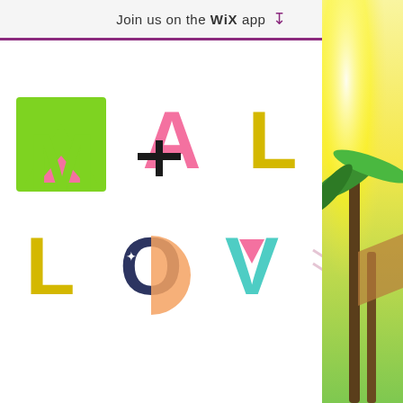Join us on the WiX app ⬇
[Figure (logo): Mali Loves colorful decorative logo text with multicolored letters in playful bold style. Top row: M (green), A (pink with plus), L (yellow), I (dark with dots). Bottom row: L (yellow), O (dark/pink brain pattern), V (teal triangle), E (pink), S (teal).]
[Figure (photo): Tropical outdoor scene with palm trees and bright sunlight, golden yellow tones, partially visible on right edge of page.]